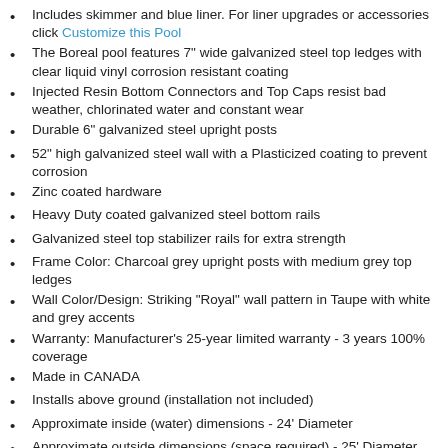Includes skimmer and blue liner. For liner upgrades or accessories click Customize this Pool
The Boreal pool features 7" wide galvanized steel top ledges with clear liquid vinyl corrosion resistant coating
Injected Resin Bottom Connectors and Top Caps resist bad weather, chlorinated water and constant wear
Durable 6" galvanized steel upright posts
52" high galvanized steel wall with a Plasticized coating to prevent corrosion
Zinc coated hardware
Heavy Duty coated galvanized steel bottom rails
Galvanized steel top stabilizer rails for extra strength
Frame Color: Charcoal grey upright posts with medium grey top ledges
Wall Color/Design: Striking "Royal" wall pattern in Taupe with white and grey accents
Warranty: Manufacturer's 25-year limited warranty - 3 years 100% coverage
Made in CANADA
Installs above ground (installation not included)
Approximate inside (water) dimensions - 24' Diameter
Approximate outside dimensions (space required) - 25' Diameter